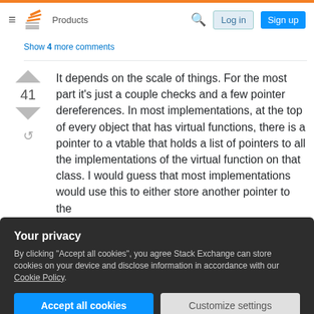≡  [Stack Overflow logo]  Products  🔍  Log in  Sign up
Show 4 more comments
It depends on the scale of things. For the most part it's just a couple checks and a few pointer dereferences. In most implementations, at the top of every object that has virtual functions, there is a pointer to a vtable that holds a list of pointers to all the implementations of the virtual function on that class. I would guess that most implementations would use this to either store another pointer to the
Your privacy
By clicking "Accept all cookies", you agree Stack Exchange can store cookies on your device and disclose information in accordance with our Cookie Policy.
Accept all cookies  Customize settings
};